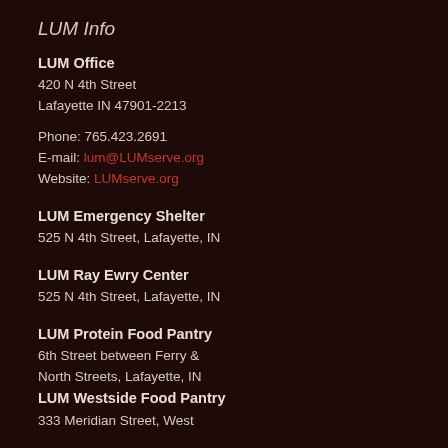LUM Info
LUM Office
420 N 4th Street
Lafayette IN 47901-2213
Phone: 765.423.2691
E-mail: lum@LUMserve.org
Website: LUMserve.org
LUM Emergency Shelter
525 N 4th Street, Lafayette, IN
LUM Ray Ewry Center
525 N 4th Street, Lafayette, IN
LUM Protein Food Pantry
6th Street between Ferry &
North Streets, Lafayette, IN
LUM Westside Food Pantry
333 Meridian Street, West